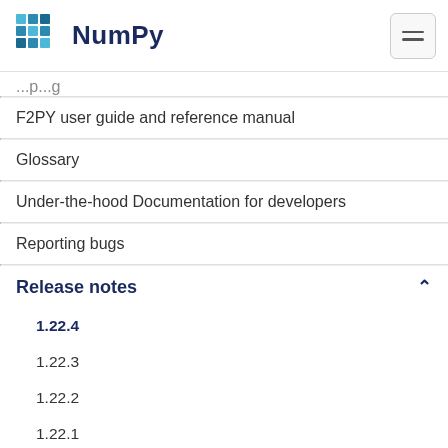NumPy
F2PY user guide and reference manual
Glossary
Under-the-hood Documentation for developers
Reporting bugs
Release notes
1.22.4
1.22.3
1.22.2
1.22.1
1.22.0
1.21.4
1.21.3